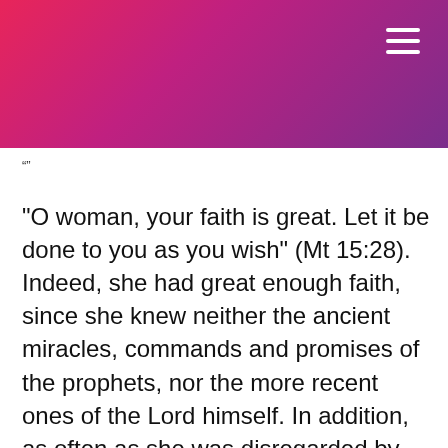[Figure (other): Gradient banner header in pink-to-purple with hamburger menu icon in top right corner]
“”
"O woman, your faith is great. Let it be done to you as you wish" (Mt 15:28). Indeed, she had great enough faith, since she knew neither the ancient miracles, commands and promises of the prophets, nor the more recent ones of the Lord himself. In addition, as often as she was disregarded by the Lord, she persevered in her entreaties, and she did not cease knocking by asking him, though she knew only by popular opinion that he was the Savior. On account of this she secured the great object for which she implored… If one of us has a conscience polluted by the stain of avarice, conceit, vain-glory, ndignation, irascibility, or envy and the other vices, he has "a daughter badly troubled by a demon" like the Canaanite woman. He